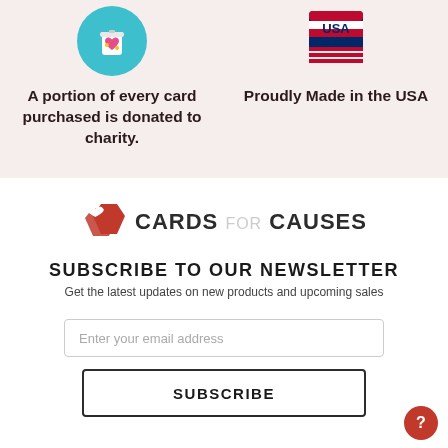[Figure (illustration): Teal circle icon with a jar/donation container with a heart on it]
A portion of every card purchased is donated to charity.
[Figure (illustration): USA flag shield logo - Proudly Made in the USA]
Proudly Made in the USA
[Figure (logo): Cards for Causes logo with red folded heart/card icon and text CARDS FOR CAUSES]
SUBSCRIBE TO OUR NEWSLETTER
Get the latest updates on new products and upcoming sales
Enter your email address
SUBSCRIBE